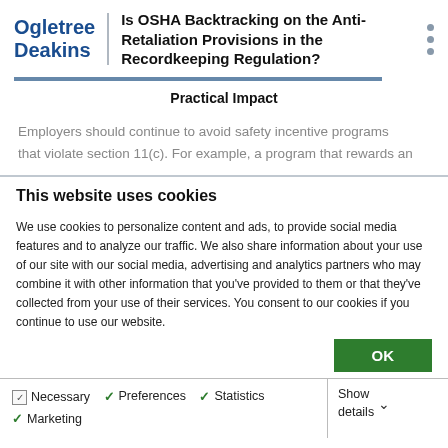Is OSHA Backtracking on the Anti-Retaliation Provisions in the Recordkeeping Regulation?
Practical Impact
Employers should continue to avoid safety incentive programs that violate section 11(c). For example, a program that rewards an
This website uses cookies
We use cookies to personalize content and ads, to provide social media features and to analyze our traffic. We also share information about your use of our site with our social media, advertising and analytics partners who may combine it with other information that you've provided to them or that they've collected from your use of their services. You consent to our cookies if you continue to use our website.
OK
Necessary  Preferences  Statistics  Marketing  Show details